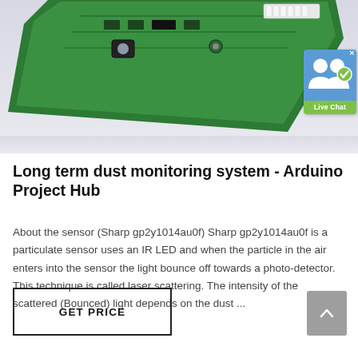[Figure (photo): Close-up photo of a green circuit board (Sharp GP2Y1014AU0F particulate sensor module) against a light lavender/grey background. The board is viewed from above at a slight angle showing components and a white connector.]
Long term dust monitoring system - Arduino Project Hub
About the sensor (Sharp gp2y1014au0f) Sharp gp2y1014au0f is a particulate sensor uses an IR LED and when the particle in the air enters into the sensor the light bounce off towards a photo-detector. This technique is called laser scattering. The intensity of the scattered (Bounced) light depends on the dust ...
GET PRICE